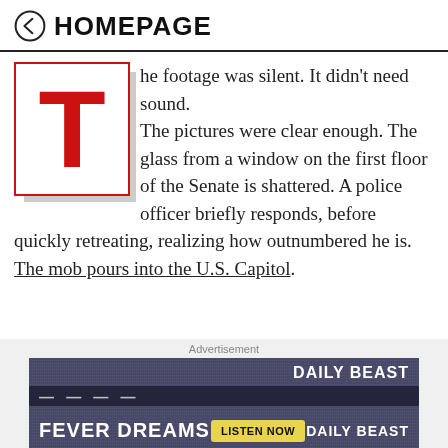← HOMEPAGE
The footage was silent. It didn't need sound.

The pictures were clear enough. The glass from a window on the first floor of the Senate is shattered. A police officer briefly responds, before quickly retreating, realizing how outnumbered he is. The mob pours into the U.S. Capitol.
[Figure (illustration): Drop cap letter T in red inside a red-bordered box with a gray shadow behind it]
Advertisement
[Figure (screenshot): Advertisement banner for Daily Beast Fever Dreams podcast with Listen Now button]